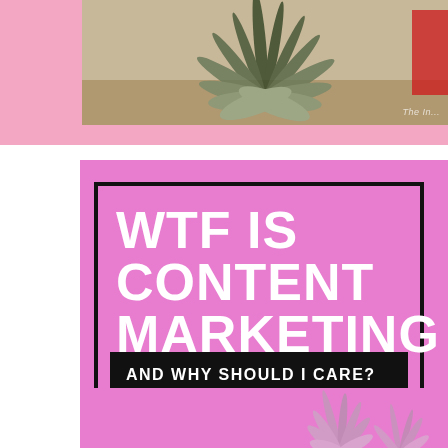[Figure (photo): Photograph of a large agave plant with long spiky leaves, set against a gravel ground and pink background border. A person in red is partially visible at the right edge.]
[Figure (infographic): Pink square graphic with a thick black border rectangle inside containing white bold text 'WTF IS CONTENT MARKETING' and below it a solid black rectangle with white uppercase text 'AND WHY SHOULD I CARE?'. Bottom portion shows partial agave plant silhouette.]